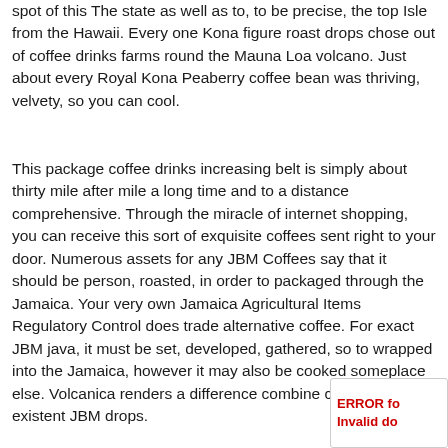spot of this The state as well as to, to be precise, the top Isle from the Hawaii. Every one Kona figure roast drops chose out of coffee drinks farms round the Mauna Loa volcano. Just about every Royal Kona Peaberry coffee bean was thriving, velvety, so you can cool.
This package coffee drinks increasing belt is simply about thirty mile after mile a long time and to a distance comprehensive. Through the miracle of internet shopping, you can receive this sort of exquisite coffees sent right to your door. Numerous assets for any JBM Coffees say that it should be person, roasted, in order to packaged through the Jamaica. Your very own Jamaica Agricultural Items Regulatory Control does trade alternative coffee. For exact JBM java, it must be set, developed, gathered, so to wrapped into the Jamaica, however it may also be cooked someplace else. Volcanica renders a difference combine caused by 30% existent JBM drops.
ERROR for Invalid do